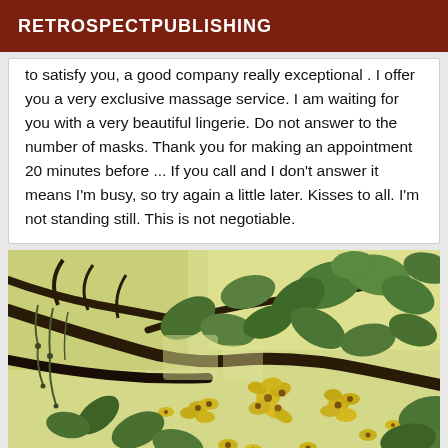RETROSPECTPUBLISHING
to satisfy you, a good company really exceptional . I offer you a very exclusive massage service. I am waiting for you with a very beautiful lingerie. Do not answer to the number of masks. Thank you for making an appointment 20 minutes before ... If you call and I don't answer it means I'm busy, so try again a little later. Kisses to all.  I'm not standing still. This is not negotiable.
[Figure (photo): A close-up photograph of yellow flowers and green leaves on tree branches against a pale yellow-green background.]